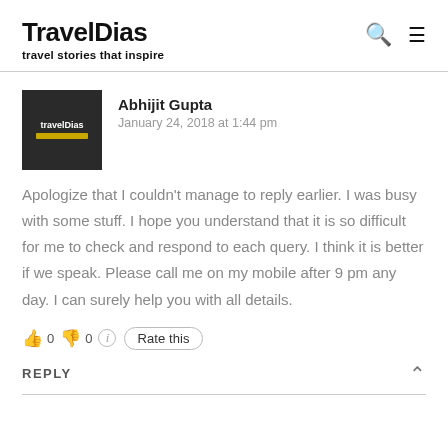TravelDias – travel stories that inspire
Abhijit Gupta
January 24, 2018 at 1:44 pm
Apologize that I couldn't manage to reply earlier. I was busy with some stuff. I hope you understand that it is so difficult for me to check and respond to each query. I think it is better if we speak. Please call me on my mobile after 9 pm any day. I can surely help you with all details.
👍 0 👎 0 ⓘ Rate this
REPLY